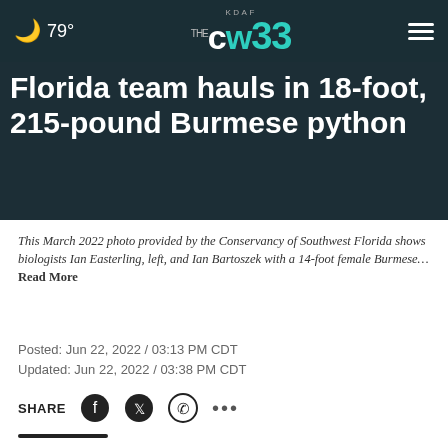KDAF CW 33 — 79°
Florida team hauls in 18-foot, 215-pound Burmese python
This March 2022 photo provided by the Conservancy of Southwest Florida shows biologists Ian Easterling, left, and Ian Bartoszek with a 14-foot female Burmese… Read More
Posted: Jun 22, 2022 / 03:13 PM CDT
Updated: Jun 22, 2022 / 03:38 PM CDT
SHARE
NAPLES, Fla. (AP) — A team of biologists recently hauled in ... captured in Florida, officials said.